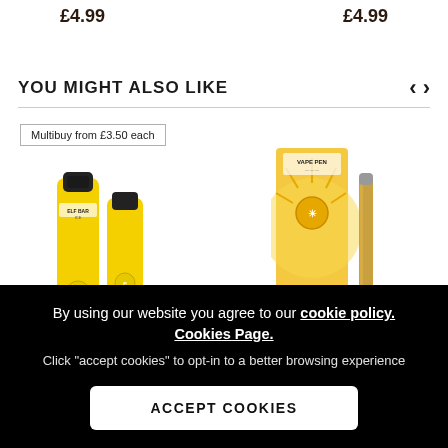£4.99   £4.99
YOU MIGHT ALSO LIKE
[Figure (screenshot): Two yellow Elf Bar ICE disposable vape pens with a multibuy badge reading 'Multibuy from £3.50 each']
[Figure (screenshot): A gold Vape Pen product with packaging box on the right side]
By using our website you agree to our cookie policy. Cookies Page.

Click "accept cookies" to opt-in to a better browsing experience
ACCEPT COOKIES